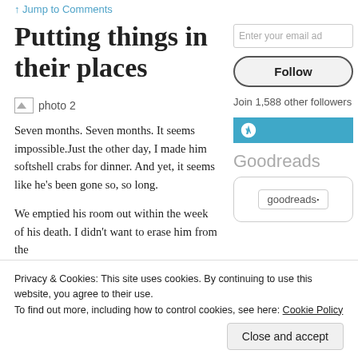↑ Jump to Comments
Putting things in their places
[Figure (photo): Broken image placeholder labeled 'photo 2']
Seven months. Seven months. It seems impossible.Just the other day, I made him softshell crabs for dinner. And yet, it seems like he's been gone so, so long.
We emptied his room out within the week of his death. I didn't want to erase him from the
Enter your email ad
Follow
Join 1,588 other followers
[Figure (logo): WordPress logo on teal/blue bar]
Goodreads
[Figure (logo): Goodreads widget box with goodreads logo]
Privacy & Cookies: This site uses cookies. By continuing to use this website, you agree to their use.
To find out more, including how to control cookies, see here: Cookie Policy
Close and accept